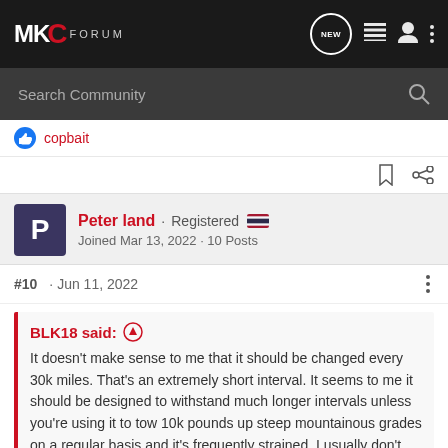MKC FORUM
Search Community
copbait
Peter land · Registered
Joined Mar 13, 2022 · 10 Posts
#10 · Jun 11, 2022
BLK18 said: ↑
It doesn't make sense to me that it should be changed every 30k miles. That's an extremely short interval. It seems to me it should be designed to withstand much longer intervals unless you're using it to tow 10k pounds up steep mountainous grades on a regular basis and it's frequently strained. I usually don't change transmission fluid on my cars until around 100k if they're even kept that long. I sold my '14